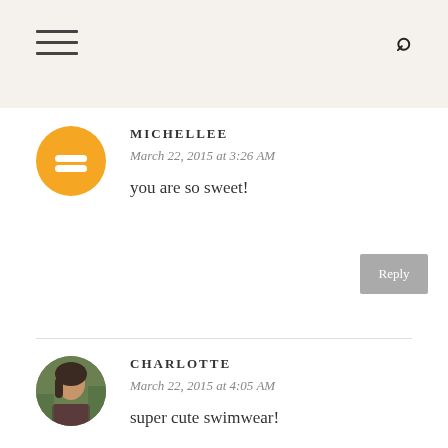MICHELLEE
March 22, 2015 at 3:26 AM
you are so sweet!
Reply
CHARLOTTE
March 22, 2015 at 4:05 AM
super cute swimwear!
Reply